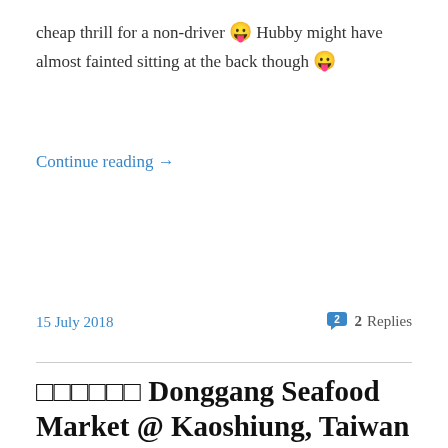cheap thrill for a non-driver 😛 Hubby might have almost fainted sitting at the back though 😛
Continue reading →
15 July 2018
💬 2 Replies
□□□□□□ Donggang Seafood Market @ Kaoshiung, Taiwan
[Figure (photo): Interior of Donggang Seafood Market in Kaoshiung, Taiwan. Busy night market stalls with Chinese signage, stall number 307 visible on the left, stall 308 on the right with a blue decorated sign, people shopping, bright lights illuminating the market.]